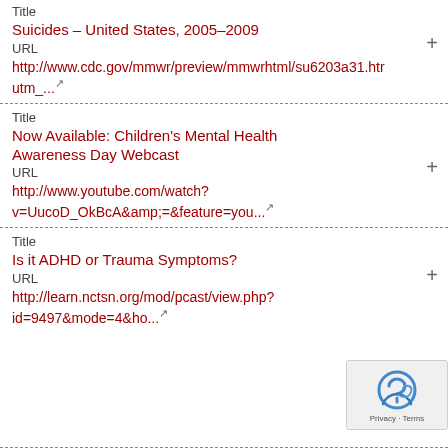Title
Suicides – United States, 2005-2009
URL
http://www.cdc.gov/mmwr/preview/mmwrhtml/su6203a31.htm utm_...
Title
Now Available: Children's Mental Health Awareness Day Webcast
URL
http://www.youtube.com/watch?v=UucoD_OkBcA&amp;=&feature=you...
Title
Is it ADHD or Trauma Symptoms?
URL
http://learn.nctsn.org/mod/pcast/view.php?id=9497&mode=4&ho...